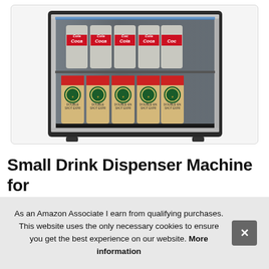[Figure (photo): A small beverage cooler/mini refrigerator with a glass door, stainless steel frame, displayed with Coca-Cola cans on the top shelf and Starbucks Double Shot Espresso cans on the bottom shelf.]
Small Drink Dispenser Machine for Office or Bar with Adjustable Re... Be... Ca...
As an Amazon Associate I earn from qualifying purchases. This website uses the only necessary cookies to ensure you get the best experience on our website. More information